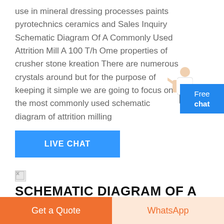use in mineral dressing processes paints pyrotechnics ceramics and Sales Inquiry Schematic Diagram Of A Commonly Used Attrition Mill A 100 T/h Ome properties of crusher stone kreation There are numerous crystals around but for the purpose of keeping it simple we are going to focus on the most commonly used schematic diagram of attrition milling
[Figure (illustration): Person (customer service representative) image floating near top-right area]
[Figure (other): Blue Free chat badge button in top-right corner]
[Figure (other): Blue LIVE CHAT button]
[Figure (other): Broken/small image icon]
SCHEMATIC DIAGRAM OF A BALL MILL MOOIGEZICHTNLDIAGRAM OF ATTRITION MILL PRIMARYTEACHERSIN
Grinding Mill China schematic diagram of ball mill b...
Get a Quote
WhatsApp